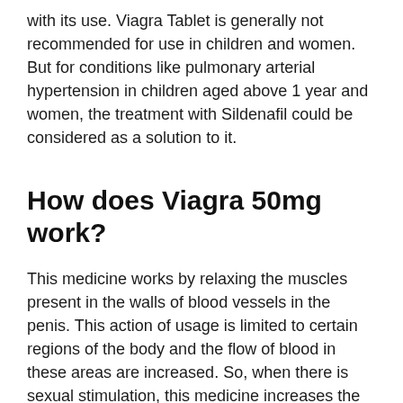with its use. Viagra Tablet is generally not recommended for use in children and women. But for conditions like pulmonary arterial hypertension in children aged above 1 year and women, the treatment with Sildenafil could be considered as a solution to it.
How does Viagra 50mg work?
This medicine works by relaxing the muscles present in the walls of blood vessels in the penis. This action of usage is limited to certain regions of the body and the flow of blood in these areas are increased. So, when there is sexual stimulation, this medicine increases the flow of blood in the penis, resulting in an improved penile erection and does not show any effect when there is no sexual stimulation. When it is used to treat pulmonary arterial hypertension, this medicine decreases the blood pressure in the regions of